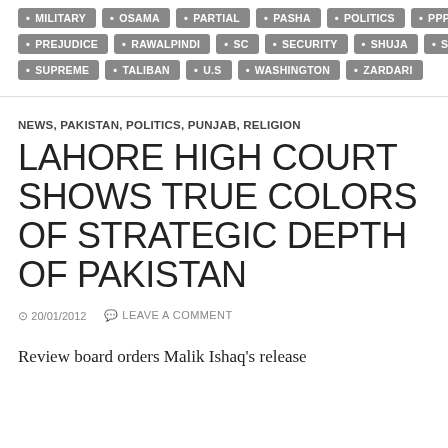• MILITARY • OSAMA • PARTIAL • PASHA • POLITICS • PPP • PREJUDICE • RAWALPINDI • SC • SECURITY • SHUJA • STATE • SUPREME • TALIBAN • U.S • WASHINGTON • ZARDARI
NEWS, PAKISTAN, POLITICS, PUNJAB, RELIGION
LAHORE HIGH COURT SHOWS TRUE COLORS OF STRATEGIC DEPTH OF PAKISTAN
20/01/2012  LEAVE A COMMENT
Review board orders Malik Ishaq's release